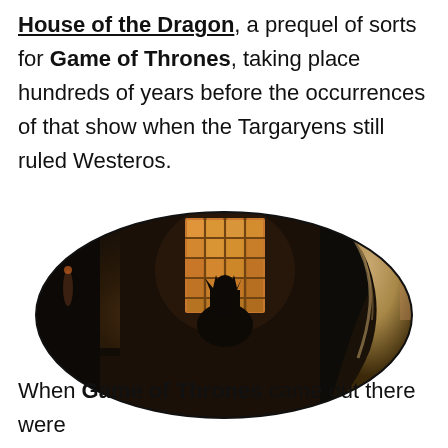House of the Dragon, a prequel of sorts for Game of Thrones, taking place hundreds of years before the occurrences of that show when the Targaryens still ruled Westeros.
[Figure (photo): A dark scene from House of the Dragon showing a dimly lit throne room with a glowing windowed wall in the background, a silhouette of a figure on the Iron Throne, and a character with long platinum blonde hair seen from behind in the foreground right. The image is displayed in an oval/rounded rectangle shape.]
When Game of Thrones came out there were